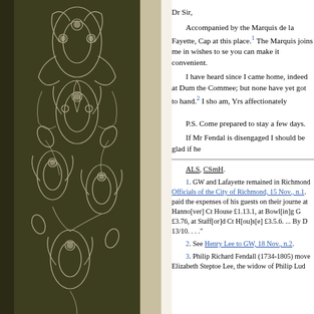Dr Sir,
Accompanied by the Marquis de la Fayette, Cap at this place. 1 The Marquis joins me in wishes to se you can make it convenient.
I have heard since I came home, indeed at Dum the Commee; but none have yet got to hand. 2 I sho am, Yrs affectionately
P.S. Come prepared to stay a few days.
If Mr Fendal is disengaged I should be glad if he
ALS, CSmH.
1. GW and Lafayette remained in Richmond Officials of the City of Richmond, 15 Nov., n.1. paid the expenses of his guests on their journe at Hanno[ver] Ct House £1.13.1, at Bowl[in]g G £3.76, at Staff[or]d Ct H[ou]s[e] £3.5.6. ... By D 13/10. . . .”
2. See Henry Lee to GW, 18 Nov., n.2.
3. Philip Richard Fendall (1734-1805) move Elizabeth Steptoe Lee, the widow of Philip Lud